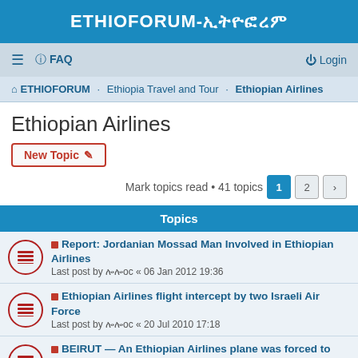ETHIOFORUM-ኢትዮፎረም
≡  FAQ   Login
ETHIOFORUM · Ethiopia Travel and Tour · Ethiopian Airlines
Ethiopian Airlines
New Topic
Mark topics read • 41 topics  1  2  >
Topics
Report: Jordanian Mossad Man Involved in Ethiopian Airlines
Last post by ሎሎoc « 06 Jan 2012 19:36
Ethiopian Airlines flight intercept by two Israeli Air Force
Last post by ሎሎoc « 20 Jul 2010 17:18
BEIRUT — An Ethiopian Airlines plane was forced to return to
Last post by ሎሎoc « 20 Jul 2010 17:16
Ethiopian Moves to Expand on African airlines
Last post by ሎሎoc « 12 Jun 2010 14:25
Ethiopian Airlines plane to increase flight frequencies